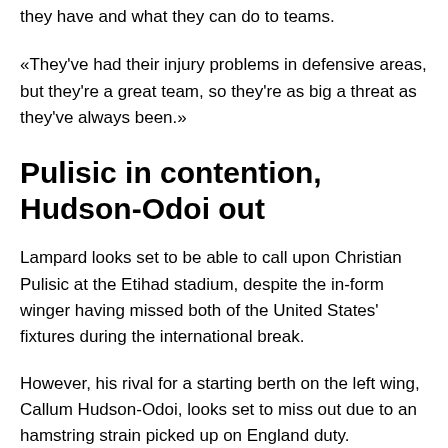they have and what they can do to teams.
«They've had their injury problems in defensive areas, but they're a great team, so they're as big a threat as they've always been.»
Pulisic in contention, Hudson-Odoi out
Lampard looks set to be able to call upon Christian Pulisic at the Etihad stadium, despite the in-form winger having missed both of the United States' fixtures during the international break.
However, his rival for a starting berth on the left wing, Callum Hudson-Odoi, looks set to miss out due to an hamstring strain picked up on England duty.
«[Pulisic] had a problem going into the last game against